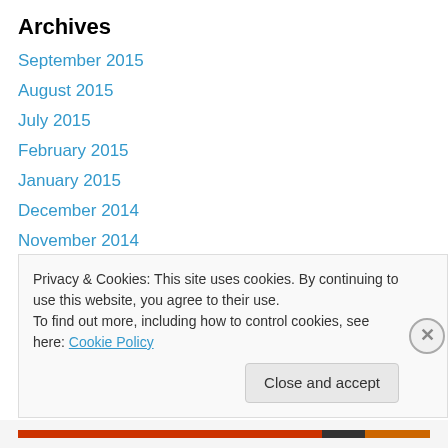Archives
September 2015
August 2015
July 2015
February 2015
January 2015
December 2014
November 2014
October 2014
September 2014
August 2014
July 2014
June 2014
Privacy & Cookies: This site uses cookies. By continuing to use this website, you agree to their use. To find out more, including how to control cookies, see here: Cookie Policy
Close and accept